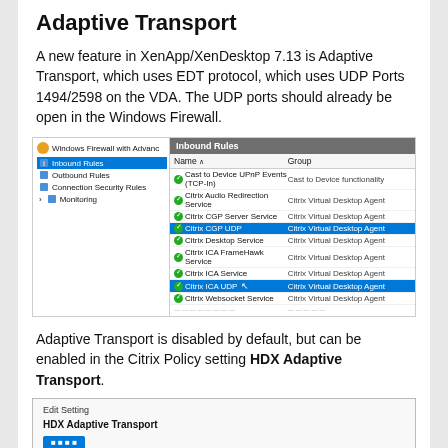Adaptive Transport
A new feature in XenApp/XenDesktop 7.13 is Adaptive Transport, which uses EDT protocol, which uses UDP Ports 1494/2598 on the VDA. The UDP ports should already be open in the Windows Firewall.
[Figure (screenshot): Windows Firewall with Advanced Security screenshot showing Inbound Rules list including Citrix CGP UDP and Citrix ICA UDP highlighted in blue, along with other Citrix Virtual Desktop Agent rules.]
Adaptive Transport is disabled by default, but can be enabled in the Citrix Policy setting HDX Adaptive Transport.
[Figure (screenshot): Edit Setting dialog box showing HDX Adaptive Transport setting with a blue button.]